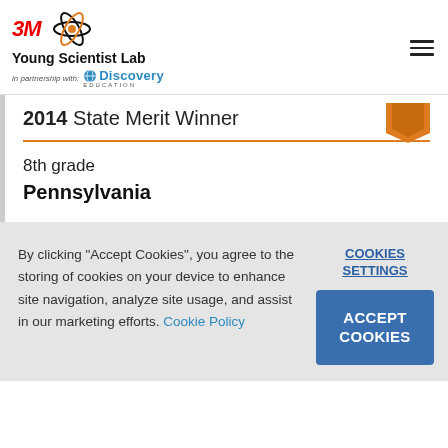3M Young Scientist Lab in partnership with Discovery Education
2014 State Merit Winner
8th grade
Pennsylvania
By clicking "Accept Cookies", you agree to the storing of cookies on your device to enhance site navigation, analyze site usage, and assist in our marketing efforts. Cookie Policy
COOKIES SETTINGS
ACCEPT COOKIES